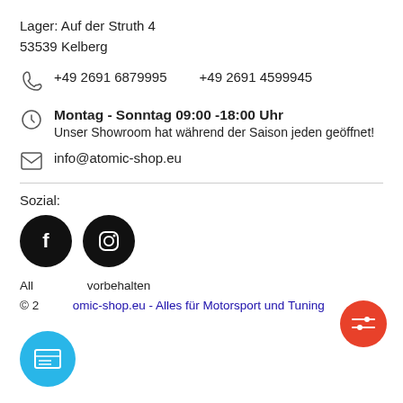Lager: Auf der Struth 4
53539 Kelberg
+49 2691 6879995    +49 2691 4599945
Montag - Sonntag 09:00 -18:00 Uhr
Unser Showroom hat während der Saison jeden geöffnet!
info@atomic-shop.eu
Sozial:
[Figure (logo): Facebook and Instagram social media icons (black circles with white logos)]
Alle Rechte vorbehalten
© 2... atomic-shop.eu - Alles für Motorsport und Tuning
[Figure (other): Red circular filter/settings button]
[Figure (other): Blue circular menu button]